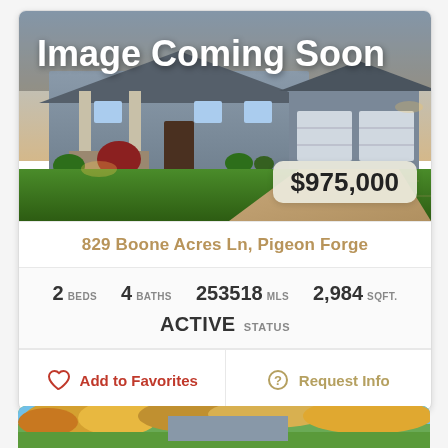[Figure (photo): Exterior photo of a large suburban home with two-car garage, stone accents, and landscaped lawn at dusk. Overlay text reads 'Image Coming Soon'.]
$975,000
829 Boone Acres Ln, Pigeon Forge
2 BEDS  4 BATHS  253518 MLS  2,984 SQFT.
ACTIVE STATUS
Add to Favorites
Request Info
[Figure (photo): Partial view of another property photo at the bottom of the page showing autumn foliage and a house.]